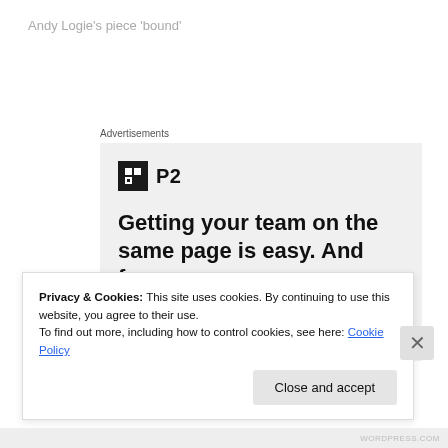Andy Logie's piece 'bound'
Advertisements
[Figure (screenshot): P2 advertisement: logo with black square icon and 'P2' text, headline 'Getting your team on the same page is easy. And free.' with avatar circles below]
Privacy & Cookies: This site uses cookies. By continuing to use this website, you agree to their use.
To find out more, including how to control cookies, see here: Cookie Policy
Close and accept